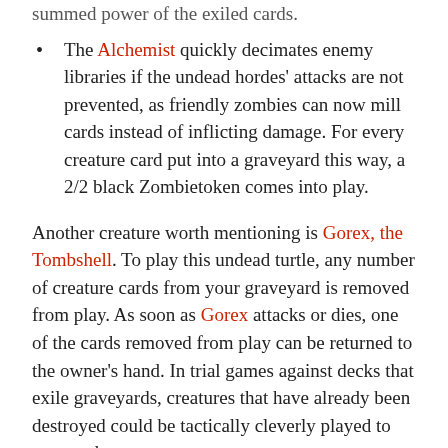summed power of the exiled cards.
The Alchemist quickly decimates enemy libraries if the undead hordes' attacks are not prevented, as friendly zombies can now mill cards instead of inflicting damage. For every creature card put into a graveyard this way, a 2/2 black Zombietoken comes into play.
Another creature worth mentioning is Gorex, the Tombshell. To play this undead turtle, any number of creature cards from your graveyard is removed from play. As soon as Gorex attacks or dies, one of the cards removed from play can be returned to the owner's hand. In trial games against decks that exile graveyards, creatures that have already been destroyed could be tactically cleverly played to protect them.